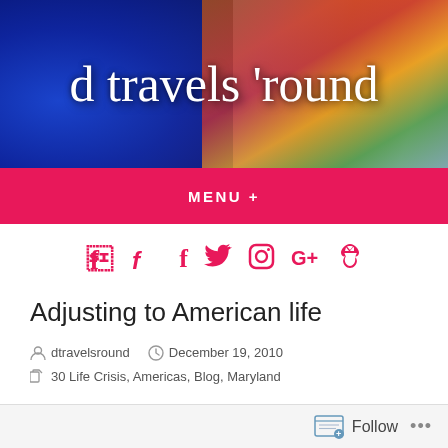[Figure (illustration): Blog header banner with blue textured background on left, colorful fabrics/paintings on right, white cursive script reading 'd travels 'round']
MENU +
[Figure (infographic): Social media icons in pink/magenta: Facebook, Twitter, Instagram, Google+, Pinterest]
Adjusting to American life
dtravelsround  December 19, 2010
30 Life Crisis, Americas, Blog, Maryland
Follow